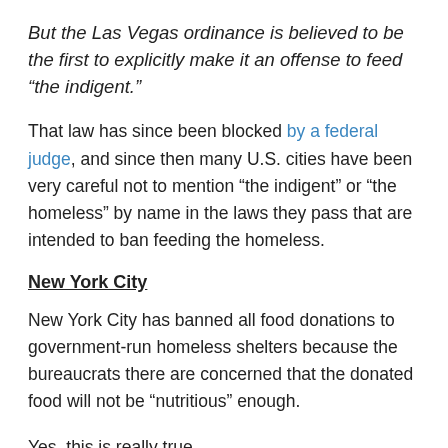But the Las Vegas ordinance is believed to be the first to explicitly make it an offense to feed “the indigent.”
That law has since been blocked by a federal judge, and since then many U.S. cities have been very careful not to mention “the indigent” or “the homeless” by name in the laws they pass that are intended to ban feeding the homeless.
New York City
New York City has banned all food donations to government-run homeless shelters because the bureaucrats there are concerned that the donated food will not be “nutritious” enough.
Yes, this is really true.